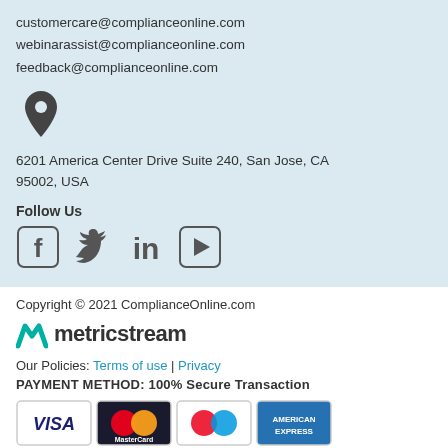customercare@complianceonline.com
webinarassist@complianceonline.com
feedback@complianceonline.com
[Figure (illustration): Map pin / location marker icon in dark gray]
6201 America Center Drive Suite 240, San Jose, CA 95002, USA
Follow Us
[Figure (illustration): Social media icons: Facebook, Twitter, LinkedIn, YouTube]
Copyright © 2021 ComplianceOnline.com
[Figure (logo): MetricStream logo with teal M icon and metricstream text]
Our Policies: Terms of use | Privacy
PAYMENT METHOD: 100% Secure Transaction
[Figure (illustration): Payment method card logos: VISA, MasterCard, Maestro, American Express]